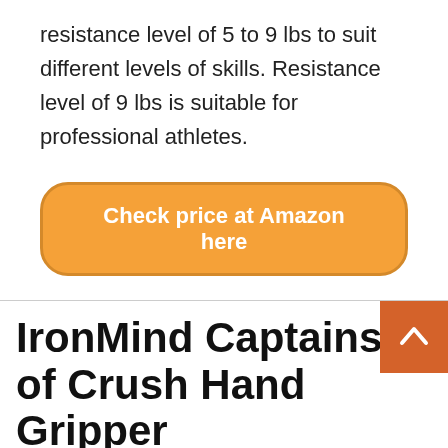resistance level of 5 to 9 lbs to suit different levels of skills. Resistance level of 9 lbs is suitable for professional athletes.
[Figure (other): Orange rounded button with white text: Check price at Amazon here]
[Figure (other): Orange square back-to-top button with white upward chevron arrow]
IronMind Captains of Crush Hand Gripper